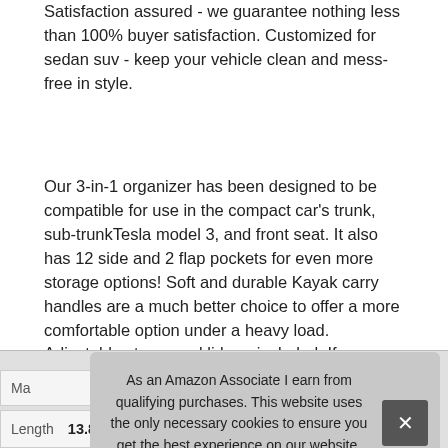Satisfaction assured - we guarantee nothing less than 100% buyer satisfaction. Customized for sedan suv - keep your vehicle clean and mess-free in style.
Our 3-in-1 organizer has been designed to be compatible for use in the compact car's trunk, sub-trunkTesla model 3, and front seat. It also has 12 side and 2 flap pockets for even more storage options! Soft and durable Kayak carry handles are a much better choice to offer a more comfortable option under a heavy load. Adjustable straps and lid are included. If you are unhappy with any aspect of our trunk storage and organizer, contact us and we'll make it right.
As an Amazon Associate I earn from qualifying purchases. This website uses the only necessary cookies to ensure you get the best experience on our website. More information
|  |  |
| --- | --- |
| Ma |  |
| Length | 13.8 Inches |